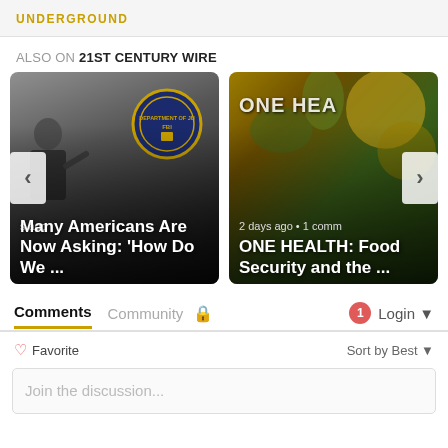UNDERGROUND
ALSO ON 21ST CENTURY WIRE
[Figure (screenshot): Carousel of two article thumbnails. Left card: man in suit pointing, FBI seal visible, text 'Many Americans Are Now Asking: How Do We ...' with metadata 's ago'. Right card: food/health imagery, text 'ONE HEALTH: Food Security and the ...' with metadata '2 days ago • 1 comm'. Left and right navigation arrows visible.]
Comments  Community  🔒  1  Login ▾
♡ Favorite   Sort by Best ▾
Join the discussion...